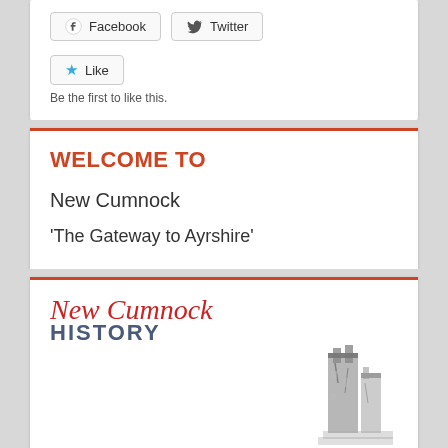Facebook  Twitter
★ Like
Be the first to like this.
WELCOME TO
New Cumnock
'The Gateway to Ayrshire'
[Figure (logo): New Cumnock History logo with italic red script 'New Cumnock' above bold blue-grey 'HISTORY' text, with a ruined tower illustration to the right]